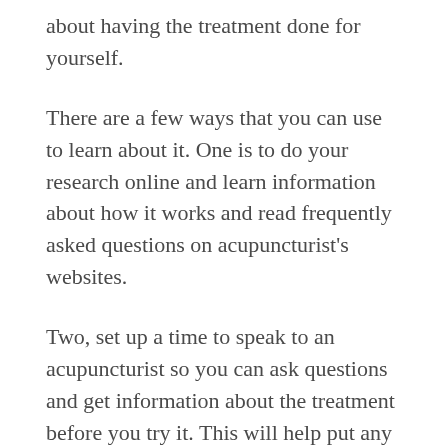about having the treatment done for yourself.
There are a few ways that you can use to learn about it. One is to do your research online and learn information about how it works and read frequently asked questions on acupuncturist's websites.
Two, set up a time to speak to an acupuncturist so you can ask questions and get information about the treatment before you try it. This will help put any concerns you have to rest and will help you make an informed decision about whether or not this treatment is right for you or not.
Third, talk to your doctor about this health condition.